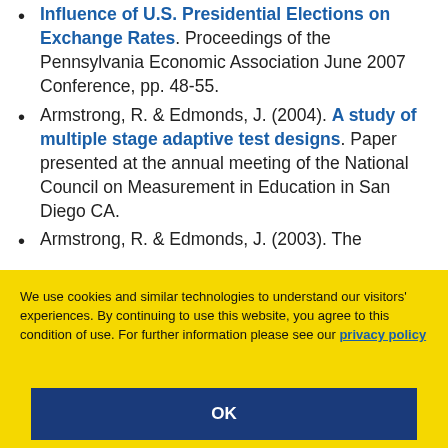Influence of U.S. Presidential Elections on Exchange Rates. Proceedings of the Pennsylvania Economic Association June 2007 Conference, pp. 48-55.
Armstrong, R. & Edmonds, J. (2004). A study of multiple stage adaptive test designs. Paper presented at the annual meeting of the National Council on Measurement in Education in San Diego CA.
Armstrong, R. & Edmonds, J. (2003). The
We use cookies and similar technologies to understand our visitors' experiences. By continuing to use this website, you agree to this condition of use. For further information please see our privacy policy